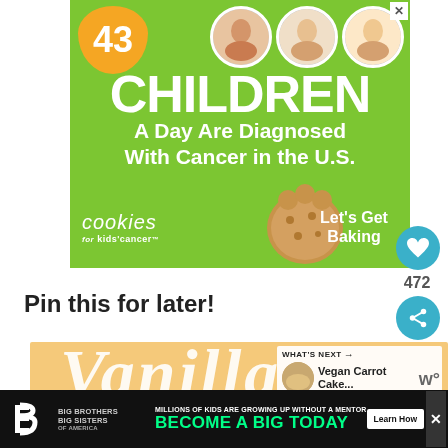[Figure (infographic): Cookies for Kids Cancer charity advertisement. Green background with orange blob showing '43', three circular child photos, large white bold text 'CHILDREN', subtext 'A Day Are Diagnosed With Cancer in the U.S.', cookies for kids cancer logo, illustrated cookie, and 'Let's Get Baking' call to action. X close button top right.]
Pin this for later!
[Figure (infographic): Section showing 'Vanilla' text in cursive on golden/yellow background, with a 'WHAT'S NEXT' panel showing an image and 'Vegan Carrot Cake...' link]
[Figure (infographic): Big Brothers Big Sisters of America bottom advertisement banner. Black background with green text 'BECOME A BIG TODAY', white subtext 'MILLIONS OF KIDS ARE GROWING UP WITHOUT A MENTOR', Learn How button, and X close button.]